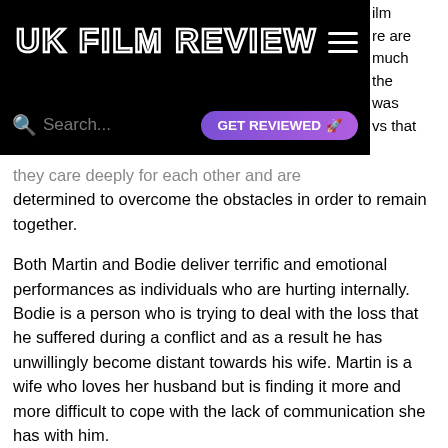UK FILM REVIEW
they care deeply for each other and are determined to overcome the obstacles in order to remain together.
Both Martin and Bodie deliver terrific and emotional performances as individuals who are hurting internally. Bodie is a person who is trying to deal with the loss that he suffered during a conflict and as a result he has unwillingly become distant towards his wife. Martin is a wife who loves her husband but is finding it more and more difficult to cope with the lack of communication she has with him.
The wonderful music by Stewart Dugdale is one of the strongest aspects here and includes a dramatic, beautiful piano score